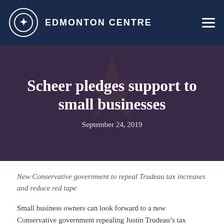EDMONTON CENTRE
Scheer pledges support to small businesses
September 24, 2019
New Conservative government to repeal Trudeau tax increases and reduce red tape
Small business owners can look forward to a new Conservative government repealing Justin Trudeau’s tax increases and cutting red tape, announced Andrew Scheer at Cracker